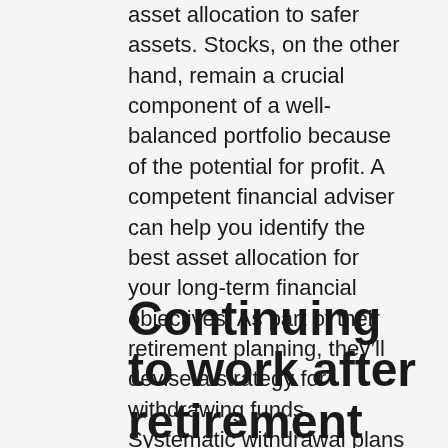asset allocation to safer assets. Stocks, on the other hand, remain a crucial component of a well-balanced portfolio because of the potential for profit. A competent financial adviser can help you identify the best asset allocation for your long-term financial objectives. As part of their retirement planning, they'll devise a strategy for withdrawing funds. Systematic withdrawal plans and “bucket” techniques are only a few of the popular methods. The 4 percent rule is another popular one.
Continuing to work after retirement